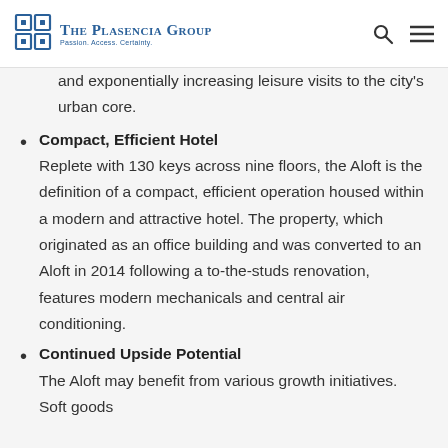The Plasencia Group — Passion. Access. Certainty.
and exponentially increasing leisure visits to the city's urban core.
Compact, Efficient Hotel — Replete with 130 keys across nine floors, the Aloft is the definition of a compact, efficient operation housed within a modern and attractive hotel. The property, which originated as an office building and was converted to an Aloft in 2014 following a to-the-studs renovation, features modern mechanicals and central air conditioning.
Continued Upside Potential — The Aloft may benefit from various growth initiatives. Soft goods...